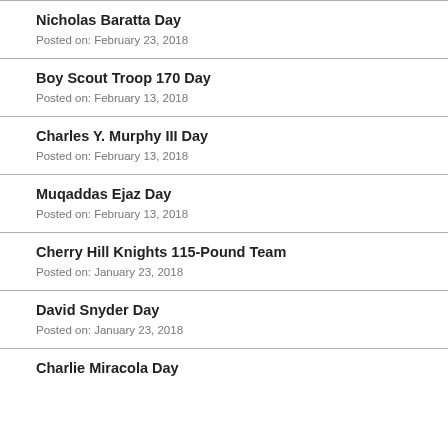Nicholas Baratta Day
Posted on: February 23, 2018
Boy Scout Troop 170 Day
Posted on: February 13, 2018
Charles Y. Murphy III Day
Posted on: February 13, 2018
Muqaddas Ejaz Day
Posted on: February 13, 2018
Cherry Hill Knights 115-Pound Team
Posted on: January 23, 2018
David Snyder Day
Posted on: January 23, 2018
Charlie Miracola Day